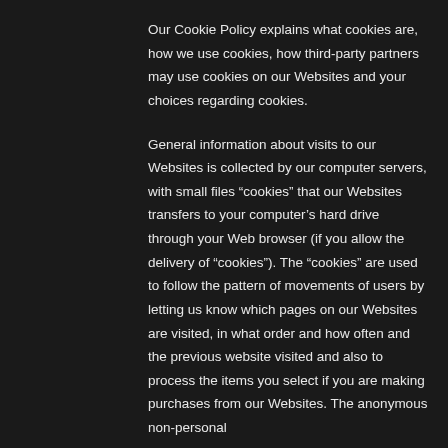Our Cookie Policy explains what cookies are, how we use cookies, how third-party partners may use cookies on our Websites and your choices regarding cookies.
General information about visits to our Websites is collected by our computer servers, with small files “cookies” that our Websites transfers to your computer’s hard drive through your Web browser (if you allow the delivery of “cookies”). The “cookies” are used to follow the pattern of movements of users by letting us know which pages on our Websites are visited, in what order and how often and the previous website visited and also to process the items you select if you are making purchases from our Websites. The anonymous non-personal